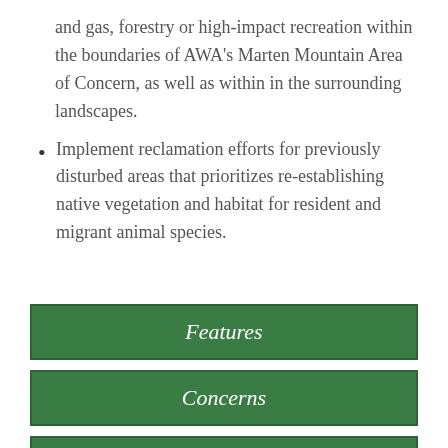and gas, forestry or high-impact recreation within the boundaries of AWA's Marten Mountain Area of Concern, as well as within in the surrounding landscapes.
Implement reclamation efforts for previously disturbed areas that prioritizes re-establishing native vegetation and habitat for resident and migrant animal species.
Features
Concerns
History
Archive